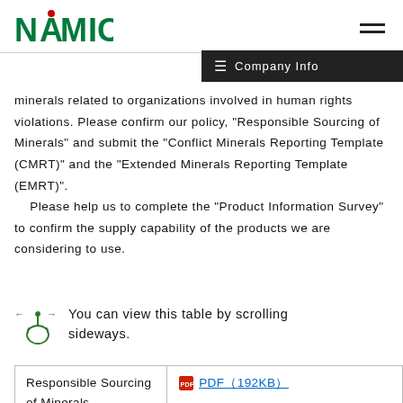NAMICS (logo) | Company Info
minerals related to organizations involved in human rights violations. Please confirm our policy, "Responsible Sourcing of Minerals" and submit the "Conflict Minerals Reporting Template (CMRT)" and the "Extended Minerals Reporting Template (EMRT)".
    Please help us to complete the "Product Information Survey" to confirm the supply capability of the products we are considering to use.
You can view this table by scrolling sideways.
|  |  |
| --- | --- |
| Responsible Sourcing of Minerals | PDF（192KB） |
| Conflict Minerals Reporting | Conflict Minerals Reporting Template (responsiblemineralsinitiative.org |